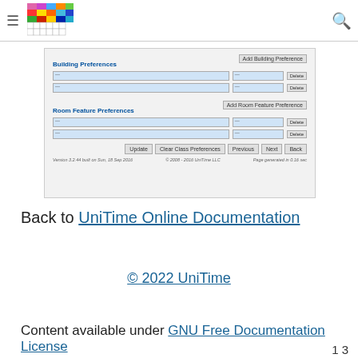UniTime Online Documentation - navigation header with logo and search
[Figure (screenshot): Screenshot of UniTime application showing Building Preferences and Room Feature Preferences sections with dropdown selects, Delete buttons, and action buttons: Update, Clear Class Preferences, Previous, Next, Back. Footer shows version and copyright info.]
Back to UniTime Online Documentation
© 2022 UniTime
Content available under GNU Free Documentation License
1 3